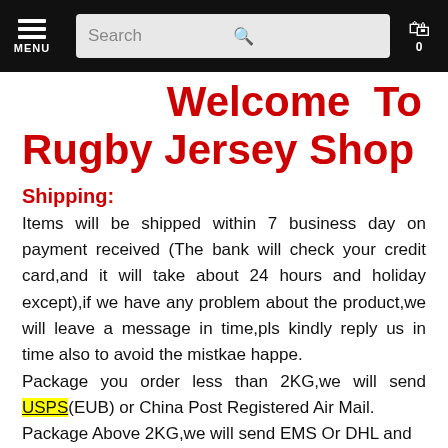MENU | Search | 0
Welcome To Rugby Jersey Shop
Shipping:
Items will be shipped within 7 business day on payment received (The bank will check your credit card,and it will take about 24 hours and holiday except),if we have any problem about the product,we will leave a message in time,pls kindly reply us in time also to avoid the mistkae happe.
Package you order less than 2KG,we will send USPS(EUB) or China Post Registered Air Mail.
Package Above 2KG,we will send EMS Or DHL and